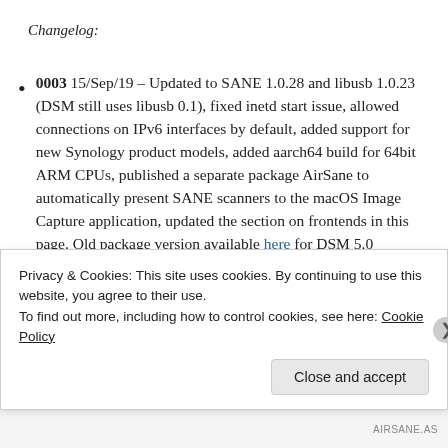Changelog:
0003 15/Sep/19 – Updated to SANE 1.0.28 and libusb 1.0.23 (DSM still uses libusb 0.1), fixed inetd start issue, allowed connections on IPv6 interfaces by default, added support for new Synology product models, added aarch64 build for 64bit ARM CPUs, published a separate package AirSane to automatically present SANE scanners to the macOS Image Capture application, updated the section on frontends in this page. Old package version available here for DSM 5.0
Privacy & Cookies: This site uses cookies. By continuing to use this website, you agree to their use.
To find out more, including how to control cookies, see here: Cookie Policy
Close and accept